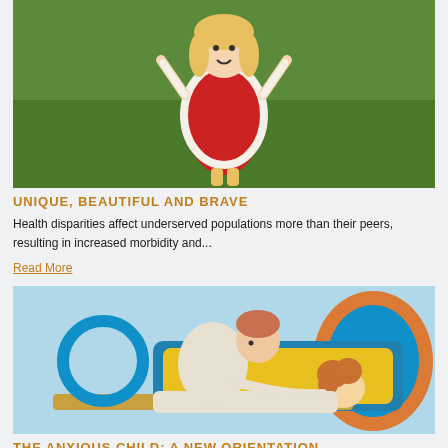[Figure (photo): Child with arms raised outdoors on green grass, wearing a red dress and white cardigan]
UNIQUE, BEAUTIFUL AND BRAVE
Health disparities affect underserved populations more than their peers, resulting in increased morbidity and...
Read More
[Figure (photo): Adult (therapist or parent) leaning over a child lying on a colorful medical/therapy scanner or tube, in a bright medical setting]
THE ANXIOUS CHILD: A NEW ORIENTATION
Health disparities affect underserved populations more than their peers, resulting in increased morbidity and...
Read More